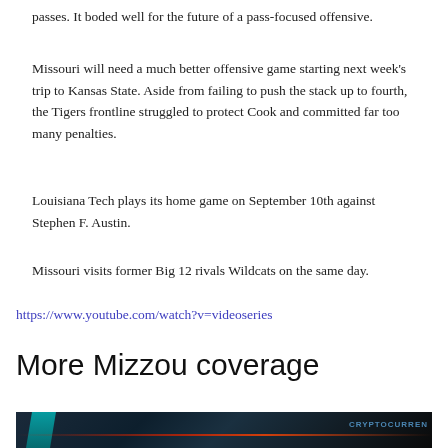passes. It boded well for the future of a pass-focused offensive.
Missouri will need a much better offensive game starting next week's trip to Kansas State. Aside from failing to push the stack up to fourth, the Tigers frontline struggled to protect Cook and committed far too many penalties.
Louisiana Tech plays its home game on September 10th against Stephen F. Austin.
Missouri visits former Big 12 rivals Wildcats on the same day.
https://www.youtube.com/watch?v=videoseries
More Mizzou coverage
[Figure (photo): Dark image with cyan and red elements, partially visible, appears to show cryptocurrency-related content with text 'CRYPTOCURREN' visible]